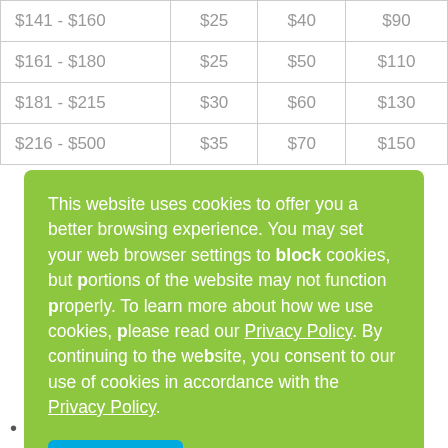| Price Range | Col1 | Col2 | Col3 |
| --- | --- | --- | --- |
| $141 - $160 | $25 | $40 | $90 |
| $161 - $180 | $25 | $50 | $110 |
| $181 - $215 | $30 | $60 | $130 |
| $216 - $500 | $35 | $70 | $150 |
This website uses cookies to offer you a better browsing experience. You may set your web browser settings to block cookies, but portions of the website may not function properly. To learn more about how we use cookies, please read our Privacy Policy. By continuing to the website, you consent to our use of cookies in accordance with the Privacy Policy.
All orders are processed within 2-3 business